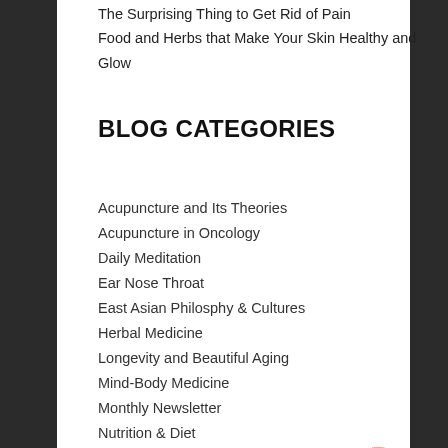The Surprising Thing to Get Rid of Pain
Food and Herbs that Make Your Skin Healthy and Glow
BLOG CATEGORIES
Acupuncture and Its Theories
Acupuncture in Oncology
Daily Meditation
Ear Nose Throat
East Asian Philosphy & Cultures
Herbal Medicine
Longevity and Beautiful Aging
Mind-Body Medicine
Monthly Newsletter
Nutrition & Diet
Pain Management
Sasang Medicine
Skin Disorder
Uncategorized
Weight Management
Women's Health
SCHEDULE ONLINE
FIND OUR LOCATION
CONTACT US TODAY
PATIENT INTAKE FORM